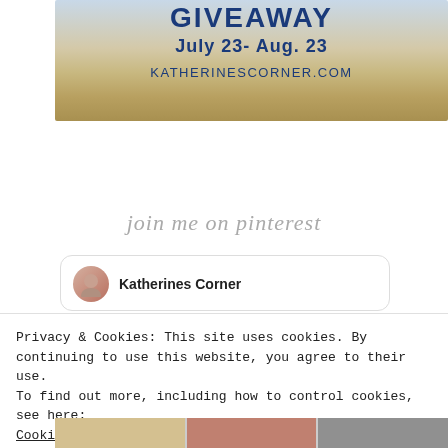[Figure (illustration): Giveaway banner image with straw hat background showing text GIVEAWAY, July 23- Aug. 23, KATHERINESCORNER.COM in navy blue]
join me on pinterest
[Figure (illustration): Pinterest profile widget card showing avatar photo of a woman and the name Katherines Corner]
Privacy & Cookies: This site uses cookies. By continuing to use this website, you agree to their use.
To find out more, including how to control cookies, see here:
Cookie Policy
Close and accept
[Figure (photo): Bottom strip of three thumbnail images]